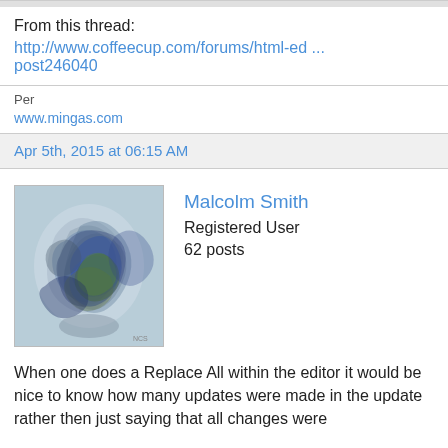From this thread:
http://www.coffeecup.com/forums/html-ed ... post246040
Per
www.mingas.com
Apr 5th, 2015 at 06:15 AM
[Figure (photo): Avatar image of Malcolm Smith — abstract watercolor art in blue, green, purple tones]
Malcolm Smith
Registered User
62 posts
When one does a Replace All within the editor it would be nice to know how many updates were made in the update rather then just saying that all changes were